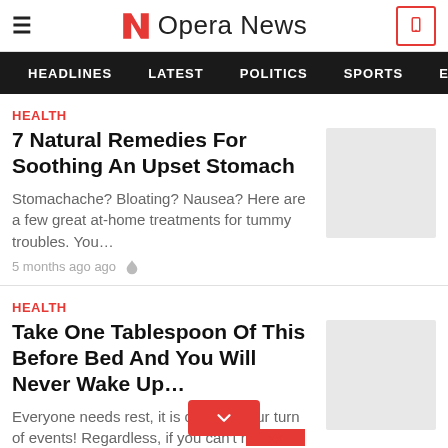Opera News
HEADLINES  LATEST  POLITICS  SPORTS  EN
HEALTH
7 Natural Remedies For Soothing An Upset Stomach
Stomachache? Bloating? Nausea? Here are a few great at-home treatments for tummy troubles. You…
5 months ago ago
HEALTH
Take One Tablespoon Of This Before Bed And You Will Never Wake Up…
Everyone needs rest, it is critical to our turn of events! Regardless, if you can't r… take thos…